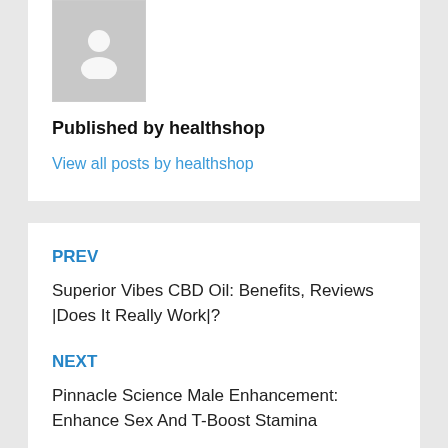[Figure (illustration): Grey placeholder avatar icon of a person silhouette on a light grey background]
Published by healthshop
View all posts by healthshop
PREV
Superior Vibes CBD Oil: Benefits, Reviews |Does It Really Work|?
NEXT
Pinnacle Science Male Enhancement: Enhance Sex And T-Boost Stamina